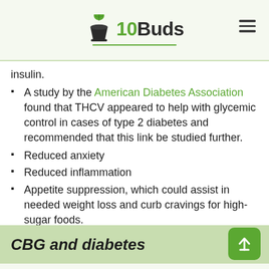10Buds
insulin.
A study by the American Diabetes Association found that THCV appeared to help with glycemic control in cases of type 2 diabetes and recommended that this link be studied further.
Reduced anxiety
Reduced inflammation
Appetite suppression, which could assist in needed weight loss and curb cravings for high-sugar foods.
CBG and diabetes